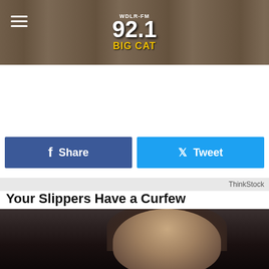[Figure (screenshot): Website header for WDLR-FM 92.1 Big Cat radio station with logo and background]
[Figure (other): Social share buttons: Facebook Share and Twitter Tweet]
[Figure (photo): Close-up photo of boots/slippers, split image with dark boot on left and light boot on right, watermarked with Big Cat branding]
ThinkStock
Your Slippers Have a Curfew
Let's hope that the slipper police aren't monitoring you on the night that you decide to wear your slippers past 10:00 p.m. because in the state of New York doing so is illegal.
[Figure (photo): Bottom portion of page showing a man with long dark hair and beard, dark background]